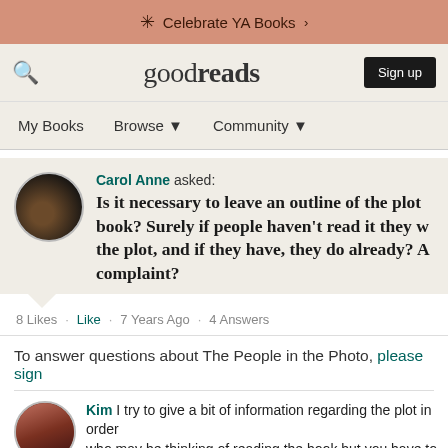Celebrate YA Books >
goodreads   Sign up   My Books   Browse   Community
Carol Anne asked: Is it necessary to leave an outline of the plot book? Surely if people haven't read it they w the plot, and if they have, they do already? A complaint?
8 Likes · Like · 7 Years Ago · 4 Answers
To answer questions about The People in the Photo, please sign
Kim I try to give a bit of information regarding the plot in order who may be thinking of reading the book but you have to strike interest' and revealing substantial parts of the plot, which try